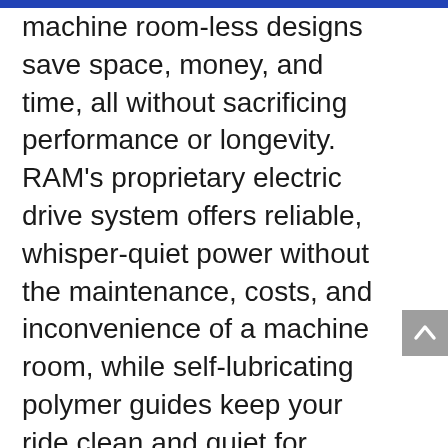machine room-less designs save space, money, and time, all without sacrificing performance or longevity. RAM's proprietary electric drive system offers reliable, whisper-quiet power without the maintenance, costs, and inconvenience of a machine room, while self-lubricating polymer guides keep your ride clean and quiet for decades to come.

Whether you're looking for value, comfort, or luxury in your home elevator, RAM's comprehensive